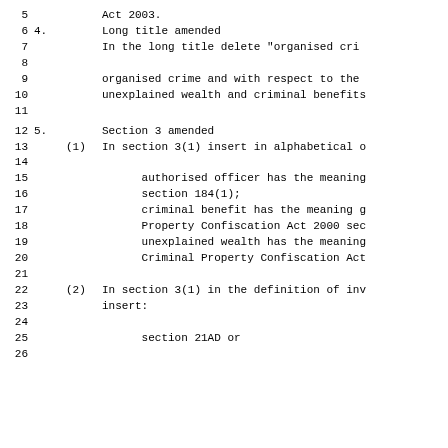5    Act 2003.
6  4.  Long title amended
7      In the long title delete "organised cri...
8
9       organised crime and with respect to the
10      unexplained wealth and criminal benefits
11
12  5.  Section 3 amended
13      (1)  In section 3(1) insert in alphabetical o...
14
15           authorised officer has the meaning
16           section 184(1);
17           criminal benefit has the meaning g
18           Property Confiscation Act 2000 sec
19           unexplained wealth has the meaning
20           Criminal Property Confiscation Act
21
22      (2)  In section 3(1) in the definition of inv
23           insert:
24
25           section 21AD or
26